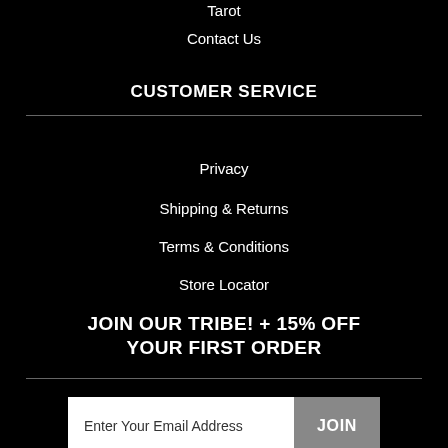Tarot
Contact Us
CUSTOMER SERVICE
Privacy
Shipping & Returns
Terms & Conditions
Store Locator
JOIN OUR TRIBE! + 15% OFF YOUR FIRST ORDER
Enter Your Email Address JOIN